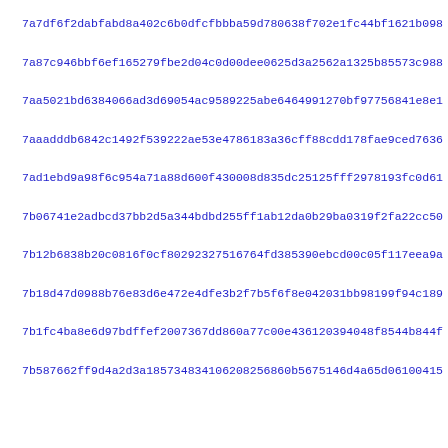7a7df6f2dabfabd8a402c6b0dfcfbbba59d780638f702e1fc44bf1621b098
7a87c946bbf6ef165279fbe2d04c0d00dee0625d3a2562a1325b85573c988
7aa5021bd6384066ad3d69054ac9589225abe64649912 70bf97756841e8e1
7aaadddb6842c1492f539222ae53e4786183a36cff88cdd178fae9ced7636
7ad1ebd9a98f6c954a71a88d600f430008d835dc25125fff2978193fc0d61
7b06741e2adbcd37bb2d5a344bdbd255ff1ab12da0b29ba0319f2fa22cc50
7b12b6838b20c0816f0cf80292327516764fd385390ebcd00c05f117eea9a
7b18d47d0988b76e83d6e472e4dfe3b2f7b5f6f8e042031bb98199f94c189
7b1fc4ba8e6d97bdffef2007367dd860a77c00e436120394048f8544b844f
7b587662ff9d4a2d3a185734834106208256860b5675146d4a65d06100415